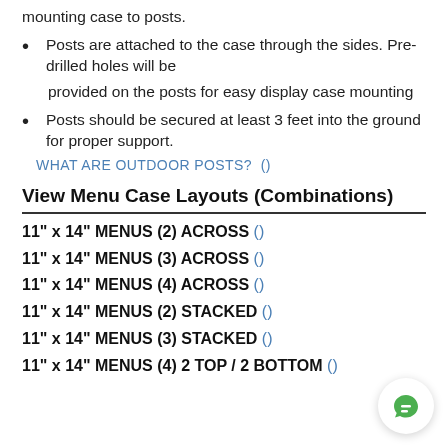mounting case to posts.
Posts are attached to the case through the sides. Pre-drilled holes will be
provided on the posts for easy display case mounting
Posts should be secured at least 3 feet into the ground for proper support.
WHAT ARE OUTDOOR POSTS?  ()
View Menu Case Layouts (Combinations)
11" x 14" MENUS (2) ACROSS ()
11" x 14" MENUS (3) ACROSS ()
11" x 14" MENUS (4) ACROSS ()
11" x 14" MENUS (2) STACKED ()
11" x 14" MENUS (3) STACKED ()
11" x 14" MENUS (4) 2 TOP / 2 BOTTOM ()